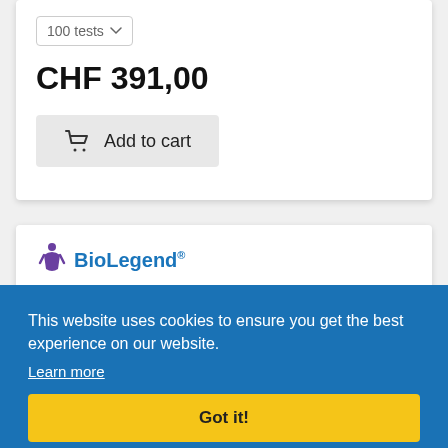100 tests
CHF 391,00
Add to cart
[Figure (logo): BioLegend logo with purple figure and blue text]
Enabling Scientific Discovery
Anti-Human CD64
305012
100 tests
CHF 312,00
This website uses cookies to ensure you get the best experience on our website.
Learn more
Got it!